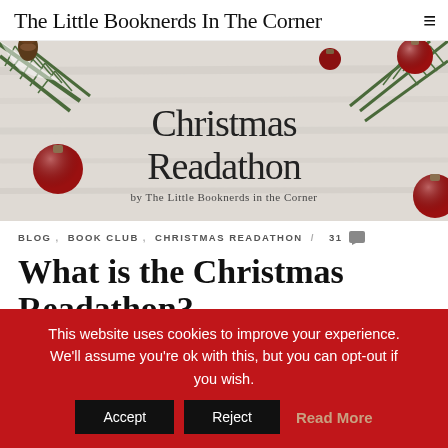The Little Booknerds In The Corner ≡
[Figure (photo): Christmas themed banner image with pine branches, red ornament balls on a light wood background. Text reads 'Christmas Readathon by The Little Booknerds in the Corner']
BLOG, BOOK CLUB, CHRISTMAS READATHON / 31 💬
What is the Christmas Readathon?
This website uses cookies to improve your experience. We'll assume you're ok with this, but you can opt-out if you wish.
Accept  Reject  Read More